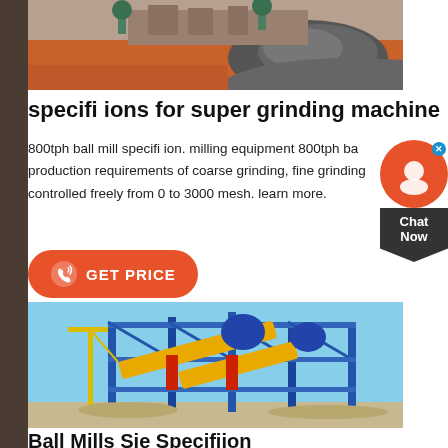[Figure (photo): Aerial/ground view of a mining or quarry site with orange/red soil and a pile of crushed gray stone/gravel. Heavy machinery visible in background.]
specifi ions for super grinding machine
800tph ball mill specifi ion. milling equipment 800tph ball mills production requirements of coarse grinding, fine grinding, controlled freely from 0 to 3000 mesh. learn more.
[Figure (other): Orange rounded button with phone/call icon and text 'GET PRICE']
[Figure (photo): Industrial plant with large blue steel framework structure, crane, conveyor belts, and yellow mining/processing equipment under a clear blue sky.]
Ball Mills Sie Specifiion